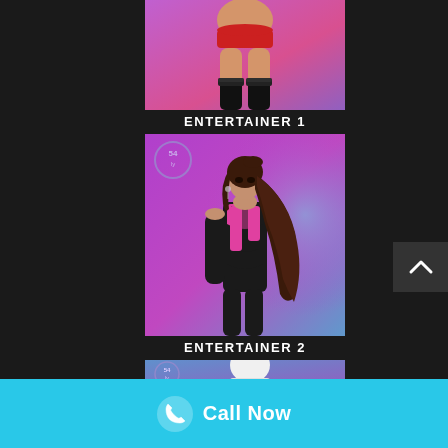[Figure (photo): Cropped photo of entertainer 1 wearing red bikini bottom and black thigh-high stockings against a purple-pink gradient background]
ENTERTAINER 1
[Figure (photo): Photo of Entertainer 2, a young woman with long dark wavy hair wearing a pink top and black outfit, posing against a purple-blue gradient background with a logo in top left corner]
ENTERTAINER 2
[Figure (photo): Partially visible photo of Entertainer 3 at the bottom of the page, cropped]
Call Now